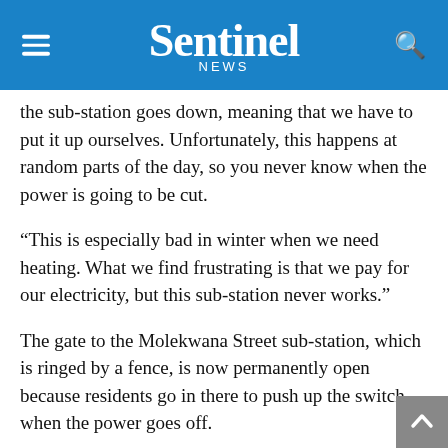Sentinel news
the sub-station goes down, meaning that we have to put it up ourselves. Unfortunately, this happens at random parts of the day, so you never know when the power is going to be cut.
“This is especially bad in winter when we need heating. What we find frustrating is that we pay for our electricity, but this sub-station never works.”
The gate to the Molekwana Street sub-station, which is ringed by a fence, is now permanently open because residents go in there to push up the switch when the power goes off.
“What’s worse is that there are people here in the township who are illegally connecting to residents’ electricity boxes. These boxes are not working, but they are loading more people onto their boxes, which means any power that does